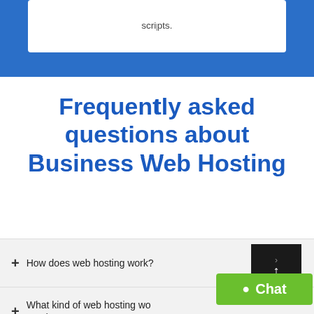scripts.
Frequently asked questions about Business Web Hosting
+ How does web hosting work?
+ What kind of web hosting would I need?